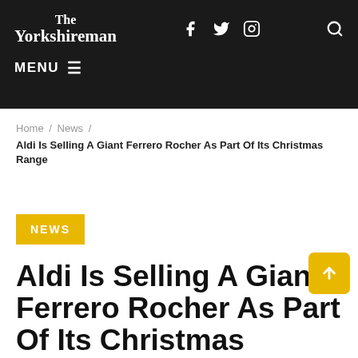The Yorkshireman — MENU — [Facebook] [Twitter] [Instagram] [Search]
Home / News / Aldi Is Selling A Giant Ferrero Rocher As Part Of Its Christmas Range
NEWS
Aldi Is Selling A Giant Ferrero Rocher As Part Of Its Christmas Range